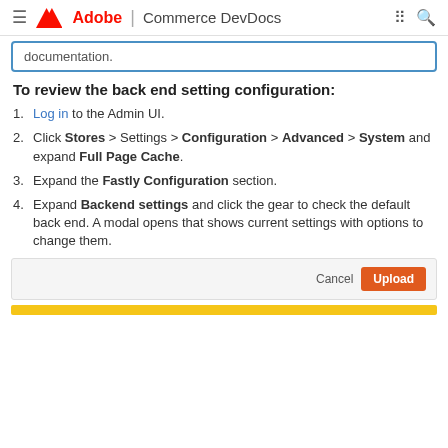Adobe | Commerce DevDocs
documentation.
To review the back end setting configuration:
1. Log in to the Admin UI.
2. Click Stores > Settings > Configuration > Advanced > System and expand Full Page Cache.
3. Expand the Fastly Configuration section.
4. Expand Backend settings and click the gear to check the default back end. A modal opens that shows current settings with options to change them.
[Figure (screenshot): Modal dialog footer with Cancel and Upload buttons]